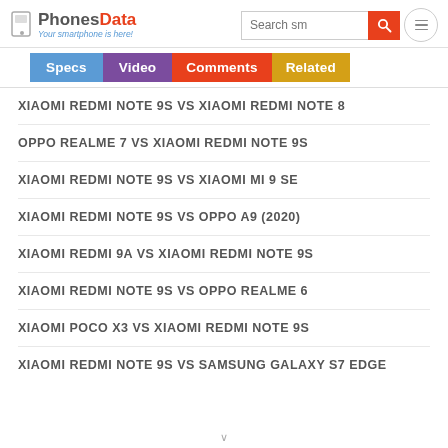PhonesData - Your smartphone is here!
XIAOMI REDMI NOTE 9S VS XIAOMI REDMI NOTE 8
OPPO REALME 7 VS XIAOMI REDMI NOTE 9S
XIAOMI REDMI NOTE 9S VS XIAOMI MI 9 SE
XIAOMI REDMI NOTE 9S VS OPPO A9 (2020)
XIAOMI REDMI 9A VS XIAOMI REDMI NOTE 9S
XIAOMI REDMI NOTE 9S VS OPPO REALME 6
XIAOMI POCO X3 VS XIAOMI REDMI NOTE 9S
XIAOMI REDMI NOTE 9S VS SAMSUNG GALAXY S7 EDGE